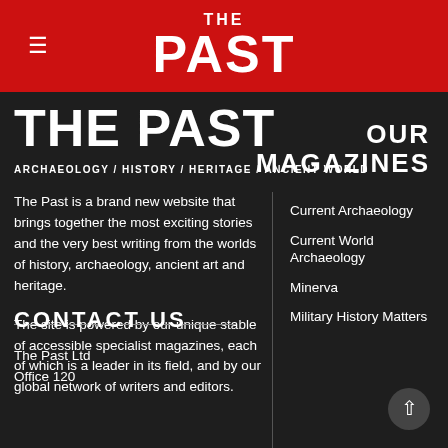THE PAST
THE PAST
ARCHAEOLOGY / HISTORY / HERITAGE / ANCIENT WORLD
OUR MAGAZINES
The Past is a brand new website that brings together the most exciting stories and the very best writing from the worlds of history, archaeology, ancient art and heritage.
The site is powered by our unique stable of accessible specialist magazines, each of which is a leader in its field, and by our global network of writers and editors.
Current Archaeology
Current World Archaeology
Minerva
Military History Matters
CONTACT US
The Past Ltd
Office 120